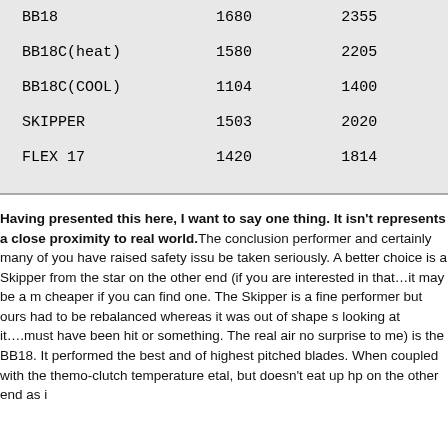| BB18 | 1680 | 2355 |
| BB18C(heat) | 1580 | 2205 |
| BB18C(COOL) | 1104 | 1400 |
| SKIPPER | 1503 | 2020 |
| FLEX 17 | 1420 | 1814 |
Having presented this here, I want to say one thing. It isn't represents a close proximity to real world. The conclusion performer and certainly many of you have raised safety issues be taken seriously. A better choice is a Skipper from the standard on the other end (if you are interested in that…it may be a much cheaper if you can find one. The Skipper is a fine performer but ours had to be rebalanced whereas it was out of shape s looking at it….must have been hit or something. The real air no surprise to me) is the BB18. It performed the best and of highest pitched blades. When coupled with the themo-clutch temperature etal, but doesn't eat up hp on the other end as i